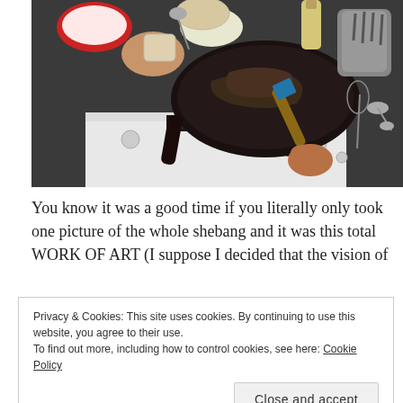[Figure (photo): Overhead view of a busy stovetop kitchen scene: a person's hands are visible — one holding a cup being poured into a pan, another adjusting the stove knob. A cast iron skillet with food residue and a blue spatula with wooden handle sits on a white electric stove. Various bowls, utensils, and a container with utensils are visible on the dark countertop.]
You know it was a good time if you literally only took one picture of the whole shebang and it was this total WORK OF ART (I suppose I decided that the vision of
Privacy & Cookies: This site uses cookies. By continuing to use this website, you agree to their use.
To find out more, including how to control cookies, see here: Cookie Policy
herb stuffing and a pecan pie cook off slowly by the